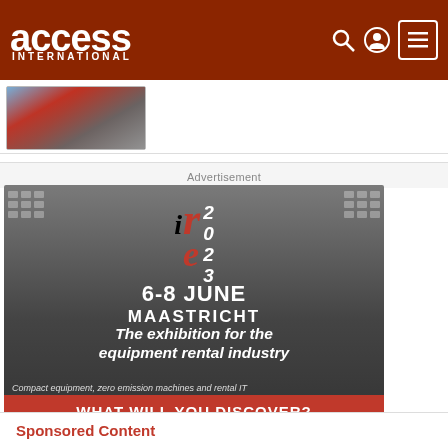access INTERNATIONAL
[Figure (photo): Small thumbnail image showing people at an event, appearing to be a red-themed conference or broadcast setting]
Advertisement
[Figure (infographic): IRE 2023 advertisement banner. IRE logo with black 'i' and red 're' letters. Text: 6-8 JUNE MAASTRICHT. The exhibition for the equipment rental industry. Compact equipment, zero emission machines and rental IT. WHAT WILL YOU DISCOVER?]
Sponsored Content